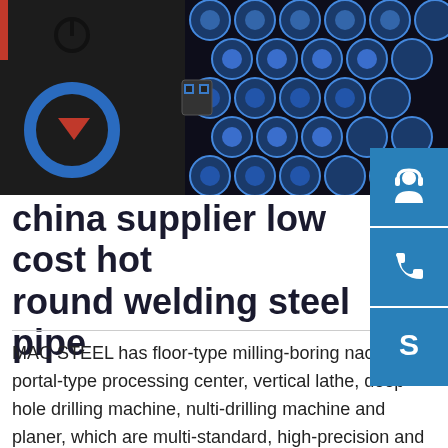[Figure (photo): Close-up photo of industrial steel pipes (blue metallic circular pipe ends in a grid pattern) on the right side, and a machine control panel with blue circular logo and red arrow on the left side.]
china supplier low cost hot round welding steel pipe
MAC STEEL has floor-type milling-boring nachine, portal-type processing center, vertical lathe, deep-hole drilling machine, nulti-drilling machine and planer, which are multi-standard, high-precision and multi-function. MAC STEEL has a wealth of machining experience and cases, such as the processing of tube sheets, food